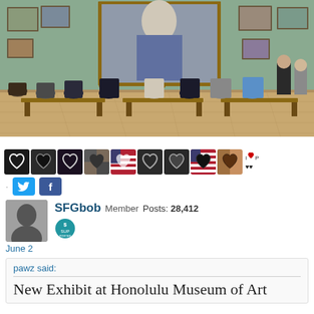[Figure (photo): Museum interior scene: visitors seated on wooden benches with backs to camera, viewing a large portrait painting in an ornate gold frame. The gallery walls are sage green with smaller framed artworks. Additional visitors stand to the right near security personnel. Wooden parquet floor.]
[Figure (infographic): Row of small heart reaction icons with various background images/colors, followed by Twitter and Facebook social share buttons]
SFGbob Member Posts: 28,412
June 2
pawz said:
New Exhibit at Honolulu Museum of Art